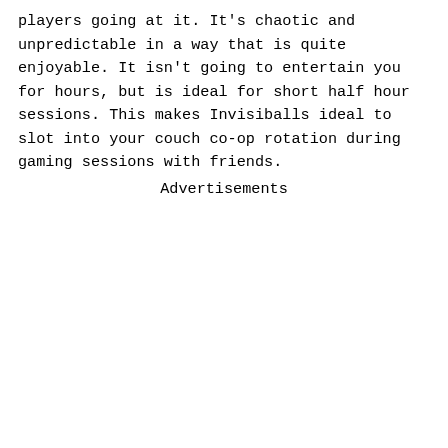players going at it. It’s chaotic and unpredictable in a way that is quite enjoyable. It isn’t going to entertain you for hours, but is ideal for short half hour sessions. This makes Invisiballs ideal to slot into your couch co-op rotation during gaming sessions with friends.
Advertisements